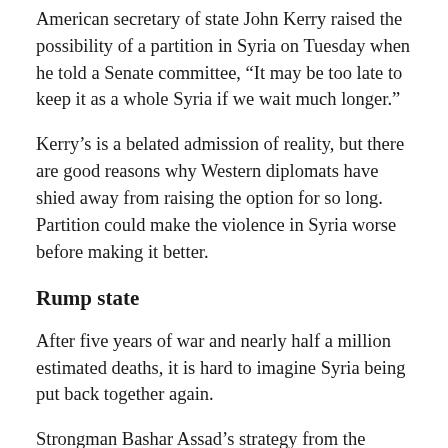American secretary of state John Kerry raised the possibility of a partition in Syria on Tuesday when he told a Senate committee, “It may be too late to keep it as a whole Syria if we wait much longer.”
Kerry’s is a belated admission of reality, but there are good reasons why Western diplomats have shied away from raising the option for so long. Partition could make the violence in Syria worse before making it better.
Rump state
After five years of war and nearly half a million estimated deaths, it is hard to imagine Syria being put back together again.
Strongman Bashar Assad’s strategy from the beginning of the uprising has been to divide the country. He dismissed genuine opposition to his dictatorship as terrorism and radicalized the rebellion by abetting the emergence of